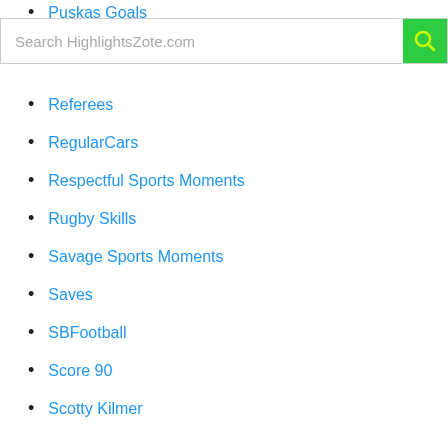Puskas Goals
Search HighlightsZote.com
Referees
RegularCars
Respectful Sports Moments
Rugby Skills
Savage Sports Moments
Saves
SBFootball
Score 90
Scotty Kilmer
Scout Nation
Séan Garnier
SEN31 Official